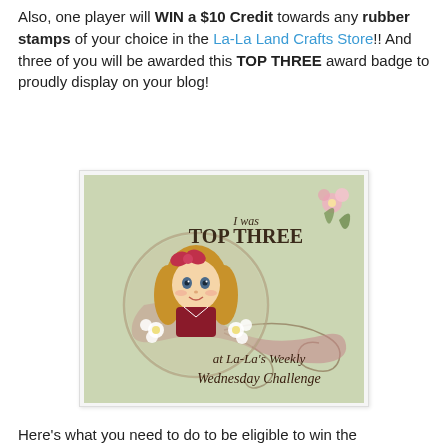Also, one player will WIN a $10 Credit towards any rubber stamps of your choice in the La-La Land Crafts Store!! And three of you will be awarded this TOP THREE award badge to proudly display on your blog!
[Figure (illustration): Award badge image with text 'I was TOP THREE at La-La's Weekly Wednesday Challenge' featuring a cartoon girl with flowers and decorative swirls on a sage green background]
Here's what you need to do to be eligible to win the